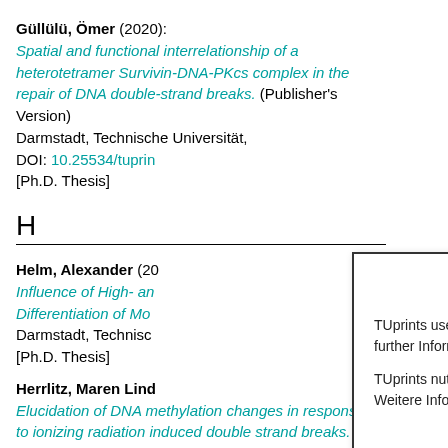Güllülü, Ömer (2020): Spatial and functional interrelationship of a heterotetramer Survivin-DNA-PKcs complex in the repair of DNA double-strand breaks. (Publisher's Version) Darmstadt, Technische Universität, DOI: 10.25534/tuprint... [Ph.D. Thesis]
H
Helm, Alexander (20...) Influence of High- an... Differentiation of Mo... Darmstadt, Technisc... [Ph.D. Thesis]
Herrlitz, Maren Lind... Elucidation of DNA methylation changes in response to ionizing radiation induced double strand breaks.
Cookies
TUprints uses only technically necessary cookies. For further Information see the privacy policy.
TUprints nutzt nur technisch notwendige Cookies. Weitere Informationen in der Datenschutzerklärung.
Okay